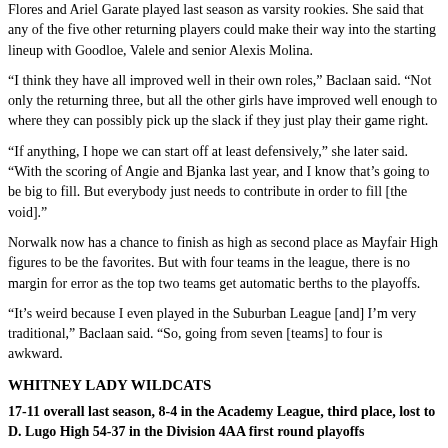Flores and Ariel Garate played last season as varsity rookies. She said that any of the five other returning players could make their way into the starting lineup with Goodloe, Valele and senior Alexis Molina.
“I think they have all improved well in their own roles,” Baclaan said. “Not only the returning three, but all the other girls have improved well enough to where they can possibly pick up the slack if they just play their game right.
“If anything, I hope we can start off at least defensively,” she later said. “With the scoring of Angie and Bjanka last year, and I know that’s going to be big to fill. But everybody just needs to contribute in order to fill [the void].”
Norwalk now has a chance to finish as high as second place as Mayfair High figures to be the favorites. But with four teams in the league, there is no margin for error as the top two teams get automatic berths to the playoffs.
“It’s weird because I even played in the Suburban League [and] I’m very traditional,” Baclaan said. “So, going from seven [teams] to four is awkward.
WHITNEY LADY WILDCATS
17-11 overall last season, 8-4 in the Academy League, third place, lost to D. Lugo High 54-37 in the Division 4AA first round playoffs
Head coach: Rachel Nagel (first season)